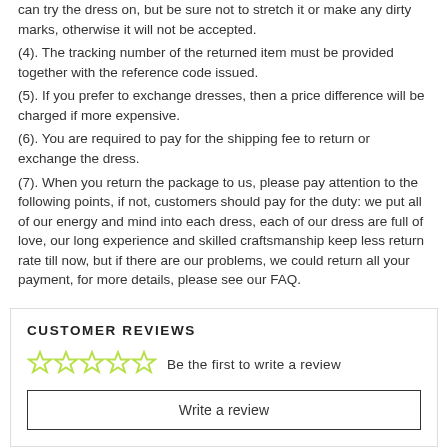can try the dress on, but be sure not to stretch it or make any dirty marks, otherwise it will not be accepted.
(4). The tracking number of the returned item must be provided together with the reference code issued.
(5). If you prefer to exchange dresses, then a price difference will be charged if more expensive.
(6). You are required to pay for the shipping fee to return or exchange the dress.
(7). When you return the package to us, please pay attention to the following points, if not, customers should pay for the duty: we put all of our energy and mind into each dress, each of our dress are full of love, our long experience and skilled craftsmanship keep less return rate till now, but if there are our problems, we could return all your payment, for more details, please see our FAQ.
CUSTOMER REVIEWS
Be the first to write a review
Write a review